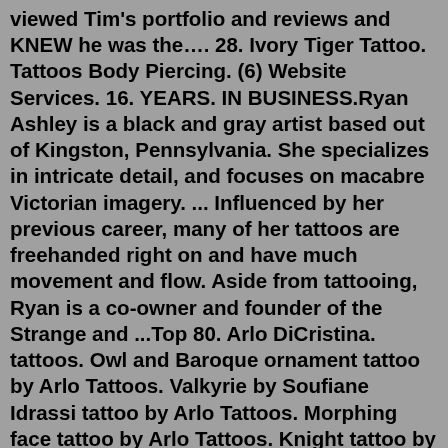viewed Tim's portfolio and reviews and KNEW he was the…. 28. Ivory Tiger Tattoo. Tattoos Body Piercing. (6) Website Services. 16. YEARS. IN BUSINESS.Ryan Ashley is a black and gray artist based out of Kingston, Pennsylvania. She specializes in intricate detail, and focuses on macabre Victorian imagery. ... Influenced by her previous career, many of her tattoos are freehanded right on and have much movement and flow. Aside from tattooing, Ryan is a co-owner and founder of the Strange and ...Top 80. Arlo DiCristina. tattoos. Owl and Baroque ornament tattoo by Arlo Tattoos. Valkyrie by Soufiane Idrassi tattoo by Arlo Tattoos. Morphing face tattoo by Arlo Tattoos. Knight tattoo by Arlo Tattoos. In honor of the great Nikola Tesla tattoo by Arlo Tattoos. Dancer tattoo by Arlo Tattoos.Her work is based off a delicate illustrative black and grey style, but she also enjoys doing color pieces. While being an artist Ashley is also a mother and wife who spends as much time as she can with her family. Her hours are Tuesday-Friday 11:00-4:00. Her minimum is 150/hr. Full she ent d...